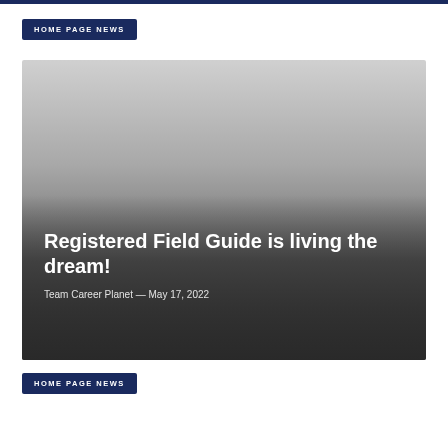HOME PAGE NEWS
[Figure (photo): Large article card image with gradient overlay from light gray at top to dark gray at bottom, containing article title and metadata text]
Registered Field Guide is living the dream!
Team Career Planet — May 17, 2022
HOME PAGE NEWS